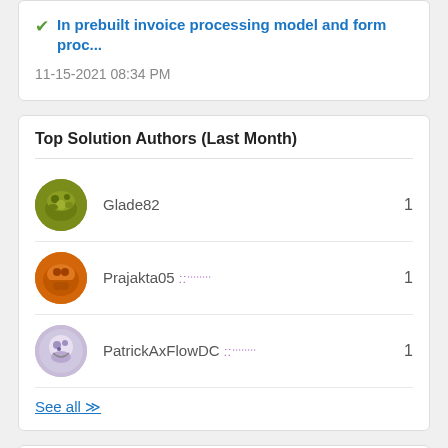✓ In prebuilt invoice processing model and form proc...
11-15-2021 08:34 PM
Top Solution Authors (Last Month)
Glade82 — 1
Prajakta05 — 1
PatrickAxFlowDC — 1
See all »
Top Kudoed Authors (Last Month)